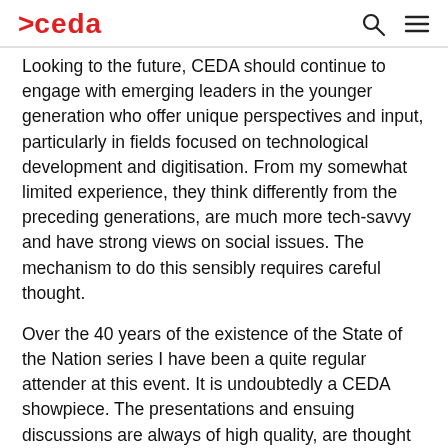>ceda
Looking to the future, CEDA should continue to engage with emerging leaders in the younger generation who offer unique perspectives and input, particularly in fields focused on technological development and digitisation. From my somewhat limited experience, they think differently from the preceding generations, are much more tech-savvy and have strong views on social issues. The mechanism to do this sensibly requires careful thought.
Over the 40 years of the existence of the State of the Nation series I have been a quite regular attender at this event. It is undoubtedly a CEDA showpiece. The presentations and ensuing discussions are always of high quality, are thought provoking and topical. With this year's line up of